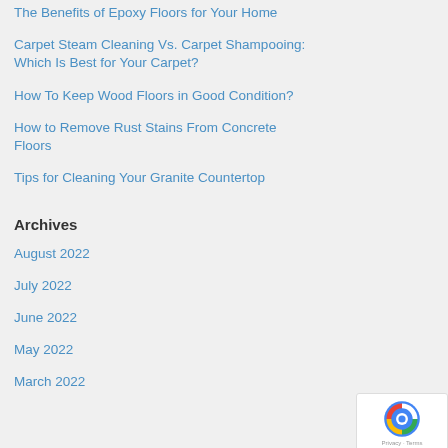The Benefits of Epoxy Floors for Your Home
Carpet Steam Cleaning Vs. Carpet Shampooing: Which Is Best for Your Carpet?
How To Keep Wood Floors in Good Condition?
How to Remove Rust Stains From Concrete Floors
Tips for Cleaning Your Granite Countertop
Archives
August 2022
July 2022
June 2022
May 2022
March 2022